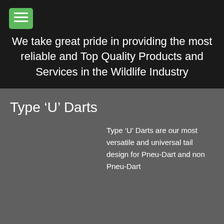[Figure (other): Green hamburger menu button icon]
We take great pride in providing the most reliable and Top Quality Products and Services in the Wildlife Industry
Type ‘U’ Darts
Type ‘U’ Darts are our most versatile and universal tail design for Pneu-Dart and non Pneu-Dart Projectors. Type U tails have been created to support 1/2cc –